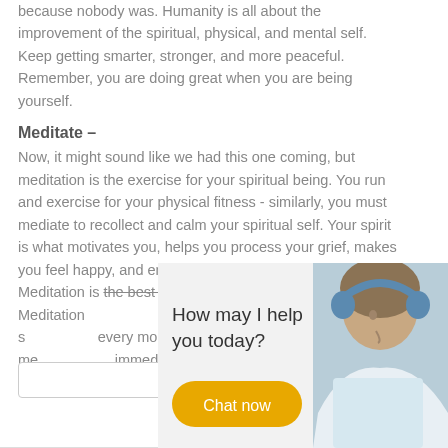because nobody was. Humanity is all about the improvement of the spiritual, physical, and mental self. Keep getting smarter, stronger, and more peaceful. Remember, you are doing great when you are being yourself.
Meditate –
Now, it might sound like we had this one coming, but meditation is the exercise for your spiritual being. You run and exercise for your physical fitness - similarly, you must mediate to recollect and calm your spiritual self. Your spirit is what motivates you, helps you process your grief, makes you feel happy, and enables you to feel emotions. Meditation is the best way to retrospect and look inward. Meditation ... self and your spiritual s... every morning, and me... immediately. Go give it...
[Figure (screenshot): Chat widget overlay showing a customer service representative wearing headphones, with text 'How may I help you today?' and a 'Chat now' button in gold/yellow color.]